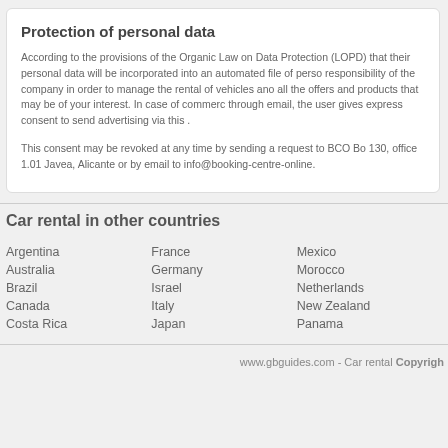Protection of personal data
According to the provisions of the Organic Law on Data Protection (LOPD) that their personal data will be incorporated into an automated file of perso responsibility of the company in order to manage the rental of vehicles ano all the offers and products that may be of your interest. In case of commere through email, the user gives express consent to send advertising via this .
This consent may be revoked at any time by sending a request to BCO Bo 130, office 1.01 Javea, Alicante or by email to info@booking-centre-online.
Car rental in other countries
Argentina
Australia
Brazil
Canada
Costa Rica
France
Germany
Israel
Italy
Japan
Mexico
Morocco
Netherlands
New Zealand
Panama
www.gbguides.com - Car rental Copyrigh